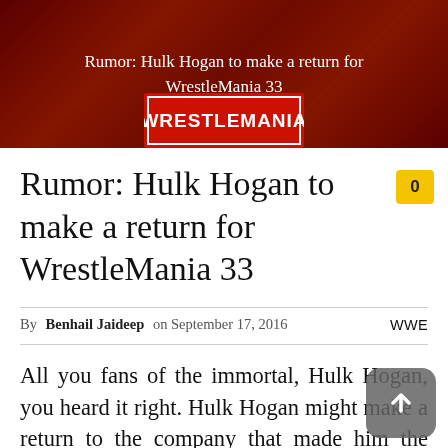[Figure (photo): Hero banner image showing WrestleMania 33 branding with red background and white text overlay reading 'Rumor: Hulk Hogan to make a return for WrestleMania 33']
Rumor: Hulk Hogan to make a return for WrestleMania 33
By Benhail Jaideep on September 17, 2016    WWE
All you fans of the immortal, Hulk Hogan, you heard it right. Hulk Hogan might make a return to the company that made him the superstar he is today, at next year's edition of the grandest stage of them all.